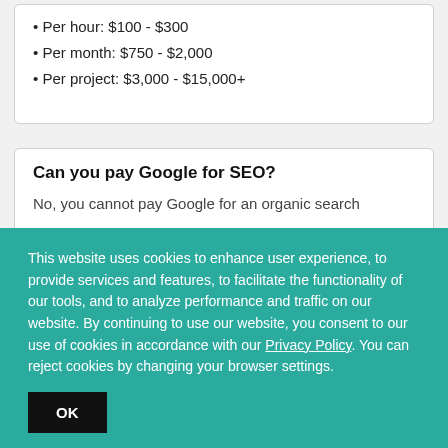• Per hour: $100 - $300
• Per month: $750 - $2,000
• Per project: $3,000 - $15,000+
Can you pay Google for SEO?
No, you cannot pay Google for an organic search...
This website uses cookies to enhance user experience, to provide services and features, to facilitate the functionality of our tools, and to analyze performance and traffic on our website. By continuing to use our website, you consent to our use of cookies in accordance with our Privacy Policy. You can reject cookies by changing your browser settings.
OK